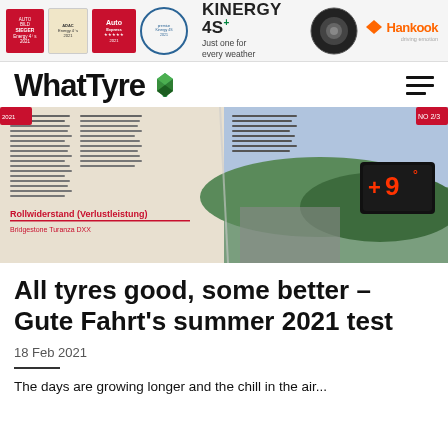[Figure (other): Hankook Kinergy 4S banner advertisement with award badges and tire image]
[Figure (logo): WhatTyre website logo with green diamond icon and hamburger menu]
[Figure (photo): Photo of open tyre test magazine showing German text and a road sign displaying +9 degrees]
All tyres good, some better – Gute Fahrt's summer 2021 test
18 Feb 2021
The days are growing longer and the chill in the air...